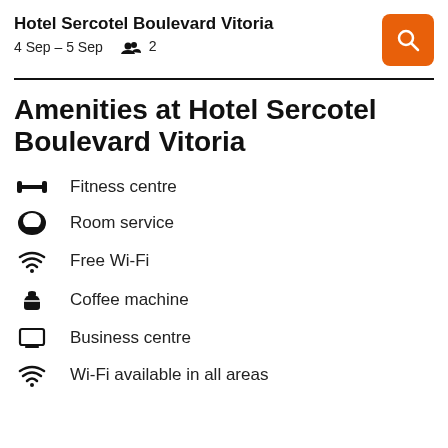Hotel Sercotel Boulevard Vitoria
4 Sep – 5 Sep  👥 2
Amenities at Hotel Sercotel Boulevard Vitoria
Fitness centre
Room service
Free Wi-Fi
Coffee machine
Business centre
Wi-Fi available in all areas